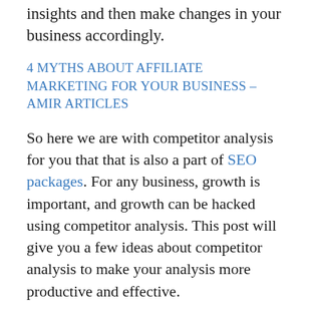insights and then make changes in your business accordingly.
4 MYTHS ABOUT AFFILIATE MARKETING FOR YOUR BUSINESS – AMIR ARTICLES
So here we are with competitor analysis for you that that is also a part of SEO packages. For any business, growth is important, and growth can be hacked using competitor analysis. This post will give you a few ideas about competitor analysis to make your analysis more productive and effective.
7 Insights That You Must Have